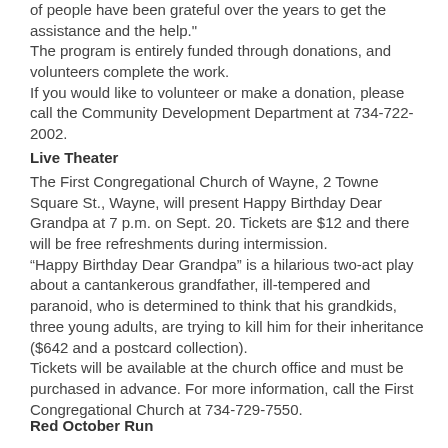of people have been grateful over the years to get the assistance and the help." The program is entirely funded through donations, and volunteers complete the work. If you would like to volunteer or make a donation, please call the Community Development Department at 734-722-2002.
Live Theater
The First Congregational Church of Wayne, 2 Towne Square St., Wayne, will present Happy Birthday Dear Grandpa at 7 p.m. on Sept. 20. Tickets are $12 and there will be free refreshments during intermission. “Happy Birthday Dear Grandpa” is a hilarious two-act play about a cantankerous grandfather, ill-tempered and paranoid, who is determined to think that his grandkids, three young adults, are trying to kill him for their inheritance ($642 and a postcard collection). Tickets will be available at the church office and must be purchased in advance. For more information, call the First Congregational Church at 734-729-7550.
Red October Run